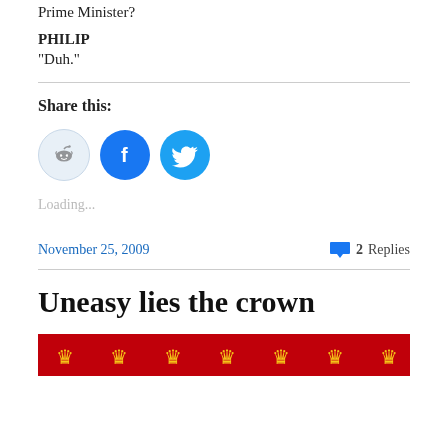Prime Minister?
PHILIP
“Duh.”
Share this:
[Figure (infographic): Three social media share buttons: Reddit (light blue circle), Facebook (blue circle with f icon), Twitter (blue circle with bird icon)]
Loading...
November 25, 2009
2 Replies
Uneasy lies the crown
[Figure (illustration): Red banner with yellow heraldic crown symbols]